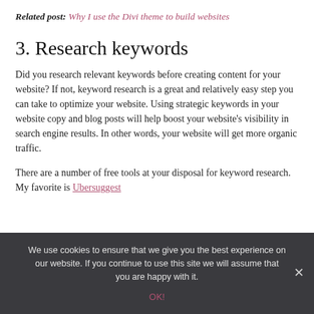Related post: Why I use the Divi theme to build websites
3. Research keywords
Did you research relevant keywords before creating content for your website? If not, keyword research is a great and relatively easy step you can take to optimize your website. Using strategic keywords in your website copy and blog posts will help boost your website’s visibility in search engine results. In other words, your website will get more organic traffic.
There are a number of free tools at your disposal for keyword research. My favorite is Ubersuggest
We use cookies to ensure that we give you the best experience on our website. If you continue to use this site we will assume that you are happy with it.
OK!